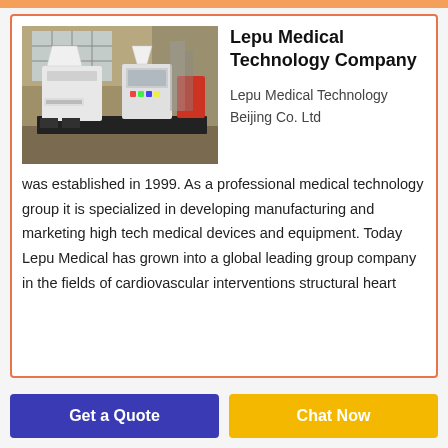[Figure (photo): Industrial/manufacturing equipment in a warehouse setting - large white machinery on a black platform]
Lepu Medical Technology Company
Lepu Medical Technology Beijing Co. Ltd
was established in 1999. As a professional medical technology group it is specialized in developing manufacturing and marketing high tech medical devices and equipment. Today Lepu Medical has grown into a global leading group company in the fields of cardiovascular interventions structural heart
Get a Quote
Chat Now